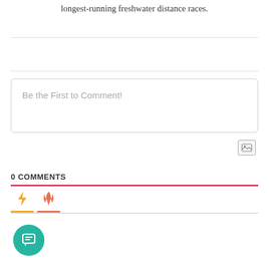longest-running freshwater distance races.
Be the First to Comment!
0 COMMENTS
[Figure (infographic): Comment section UI with tab icons (lightning bolt in yellow, flame in orange-red), a comment input box, image upload icon, and a teal chat bubble button at bottom left.]